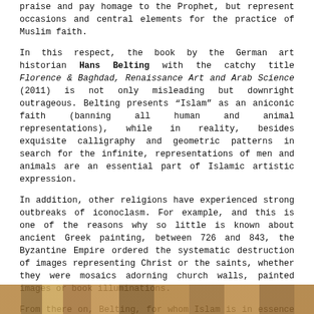praise and pay homage to the Prophet, but represent occasions and central elements for the practice of Muslim faith.
In this respect, the book by the German art historian Hans Belting with the catchy title Florence & Baghdad, Renaissance Art and Arab Science (2011) is not only misleading but downright outrageous. Belting presents "Islam" as an aniconic faith (banning all human and animal representations), while in reality, besides exquisite calligraphy and geometric patterns in search for the infinite, representations of men and animals are an essential part of Islamic artistic expression.
In addition, other religions have experienced strong outbreaks of iconoclasm. For example, and this is one of the reasons why so little is known about ancient Greek painting, between 726 and 843, the Byzantine Empire ordered the systematic destruction of images representing Christ or the saints, whether they were mosaics adorning church walls, painted images or book illuminations.
From there on, Belting, for whom Islam is in essence an aniconic civilization, has great difficulty in demonstrating what he announces in the title: the influence of Arab science (notably Ibn al-Haytam work on human vision) on the Renaissance in Florence (in particular its definition of "geometric perspective"). In fact, presenting himself as an erudite, peaceful and "objective" scholar, Belting's book feeds into the bellicose thesis of a supposed "Clash" of civilizations, while claiming the opposite.
[Figure (photo): Partial view of a photograph, likely showing figures or artwork related to the discussed topic, cropped at the bottom of the page.]